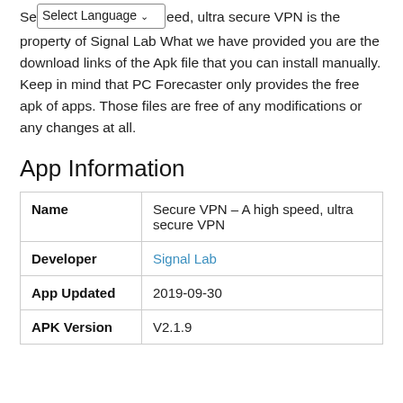Secure VPN – A high speed, ultra secure VPN is the property of Signal Lab What we have provided you are the download links of the Apk file that you can install manually. Keep in mind that PC Forecaster only provides the free apk of apps. Those files are free of any modifications or any changes at all.
App Information
|  |  |
| --- | --- |
| Name | Secure VPN – A high speed, ultra secure VPN |
| Developer | Signal Lab |
| App Updated | 2019-09-30 |
| APK Version | V2.1.9 |